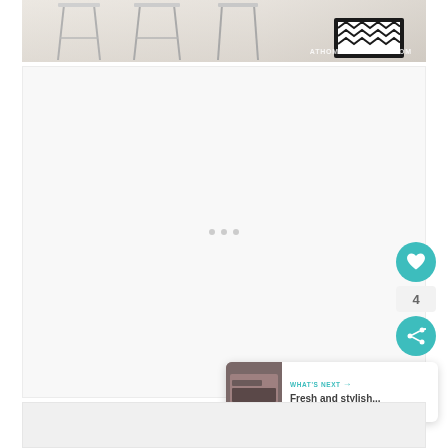[Figure (photo): Top banner image showing modern bar stools with chrome/metal legs on light wood flooring, with ATHOMEARKANSAS.COM watermark in bottom right]
[Figure (photo): Large white/light gray content panel with loading indicator dots in the center, representing a partially loaded web page content area]
[Figure (infographic): UI overlay elements: teal heart/like button, count showing '4', teal share button with plus icon, and a 'WHAT'S NEXT' card showing a thumbnail and text 'Fresh and stylish...']